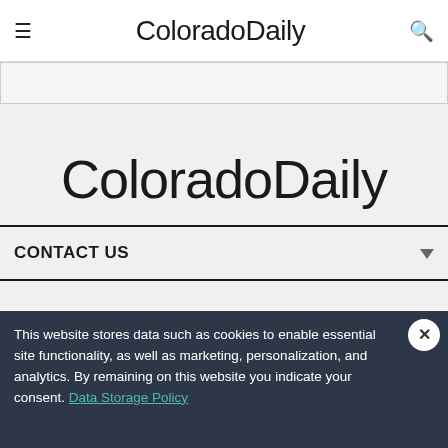ColoradoDaily
[Figure (screenshot): Search bar area / collapsed input field with gray background]
ColoradoDaily
CONTACT US
This website stores data such as cookies to enable essential site functionality, as well as marketing, personalization, and analytics. By remaining on this website you indicate your consent. Data Storage Policy